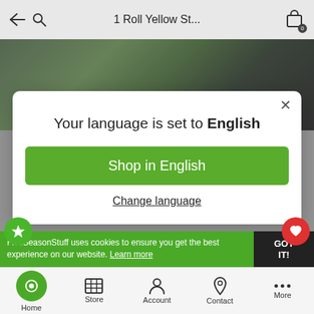1 Roll Yellow St...
[Figure (screenshot): Mobile app screenshot showing a product page for '1 Roll Yellow St...' with a language selection modal overlay. The modal reads 'Your language is set to English' with a green 'Shop in English' button and 'Change language' link. Behind the modal is a product image with green leaves and dark berries. There are floating star and heart buttons on the sides, a green cookie consent bar at the bottom, and a bottom navigation bar with Home (active, green circle), Store, Account, Contact, and More options.]
Your language is set to English
Shop in English
Change language
FiveSeasonStuff uses cookies to ensure you get the best experience on our website. Learn more
GOT IT!
Home  Store  Account  Contact  More